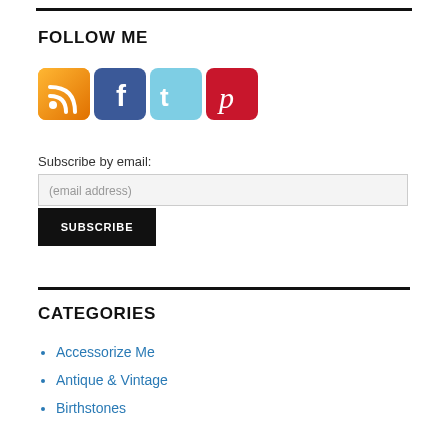FOLLOW ME
[Figure (illustration): Social media icons: RSS (orange), Facebook (blue), Twitter (light blue), Pinterest (red)]
Subscribe by email:
(email address)
SUBSCRIBE
CATEGORIES
Accessorize Me
Antique & Vintage
Birthstones